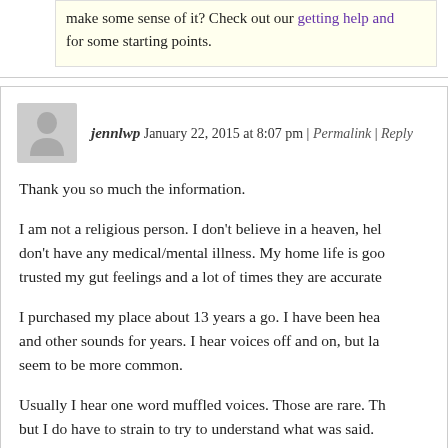make some sense of it? Check out our getting help and for some starting points.
jennlwp January 22, 2015 at 8:07 pm | Permalink | Reply
Thank you so much the information.
I am not a religious person. I don't believe in a heaven, hel don't have any medical/mental illness. My home life is goo trusted my gut feelings and a lot of times they are accurate
I purchased my place about 13 years a go. I have been hea and other sounds for years. I hear voices off and on, but la seem to be more common.
Usually I hear one word muffled voices. Those are rare. Th but I do have to strain to try to understand what was said.